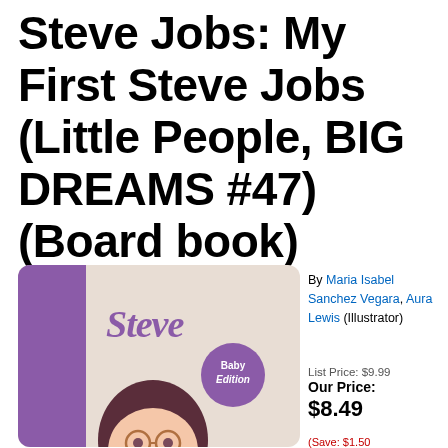Steve Jobs: My First Steve Jobs (Little People, BIG DREAMS #47) (Board book)
[Figure (illustration): Book cover for 'Steve Jobs: My First Steve Jobs' from the Little People, BIG DREAMS series. Cover shows the name 'Steve' in purple cursive text on a beige background with a purple left-side panel. A cartoon illustration of a child with dark hair and round glasses is partially visible at the bottom. A purple circle badge reads 'Baby Edition'.]
By Maria Isabel Sanchez Vegara, Aura Lewis (Illustrator)
List Price: $9.99
Our Price: $8.49
(Save: $1.50